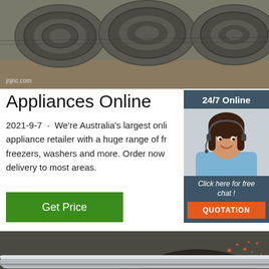[Figure (photo): Close-up photo of large steel wire coils stacked outdoors with watermark text 'jnjnc.com']
Appliances Online
2021-9-7 · We're Australia's largest onli appliance retailer with a huge range of fr freezers, washers and more. Order now delivery to most areas.
[Figure (infographic): Side panel with dark blue-grey background showing '24/7 Online' header, photo of woman with headset smiling, 'Click here for free chat!' text, and orange QUOTATION button]
Get Price
[Figure (photo): Photo of shiny steel metal rods/bars stacked horizontally with orange TOP logo watermark in bottom right]